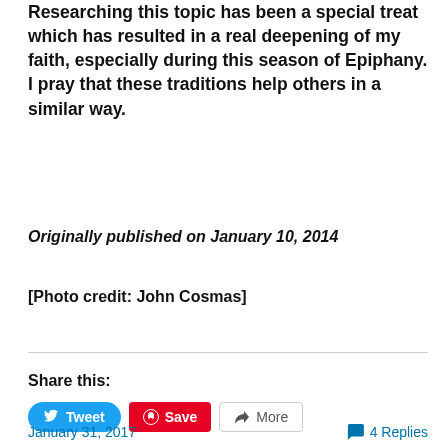Researching this topic has been a special treat which has resulted in a real deepening of my faith, especially during this season of Epiphany. I pray that these traditions help others in a similar way.
Originally published on January 10, 2014
[Photo credit: John Cosmas]
Share this:
[Figure (infographic): Social sharing buttons: Tweet (blue, Twitter bird icon), Save (red, Pinterest icon), More (grey, share icon)]
Loading...
January 31, 2017    4 Replies